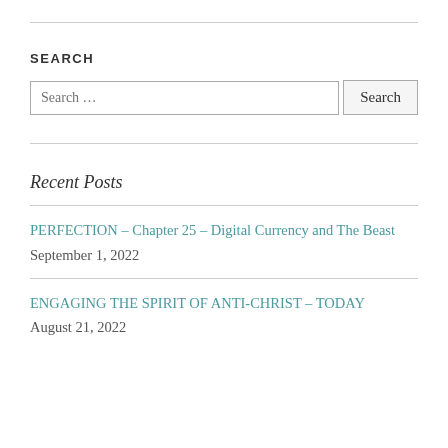SEARCH
Search … Search
Recent Posts
PERFECTION – Chapter 25 – Digital Currency and The Beast September 1, 2022
ENGAGING THE SPIRIT OF ANTI-CHRIST – TODAY August 21, 2022